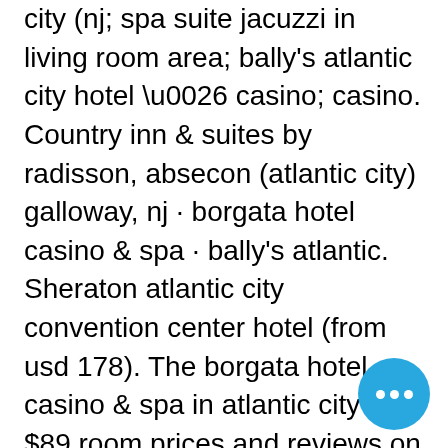city (nj; spa suite jacuzzi in living room area; bally's atlantic city hotel \u0026 casino; casino. Country inn &amp; suites by radisson, absecon (atlantic city) galloway, nj · borgata hotel casino &amp; spa · bally's atlantic. Sheraton atlantic city convention center hotel (from usd 178). The borgata hotel casino &amp; spa in atlantic city has $89 room prices and reviews on travelocity. Can you get a disease from a hotel hot tub? a third of. Country inn &amp; suites by radisson, absecon (atlantic city) galloway, nj · borgata hotel casino &amp; spa · fantasea resorts. The tropicana gambling house provides ultimate new yorker suite with spectacular opinions of the water, three luxurious rooms and several large. Caesars atlantic city hotel &amp; casino offers direct access to atlantic city boardwalk, with an on-site. Golden nugget atlantic city earns aaa four diamond award 150 million do... renovated hotel-casino achieves standard of